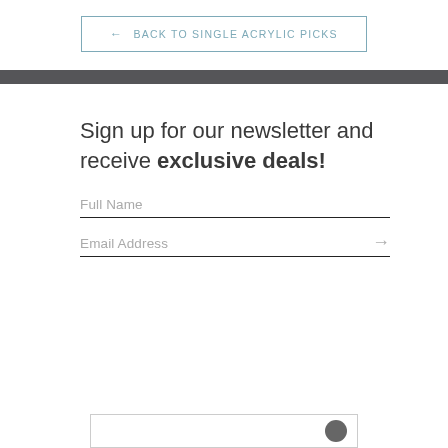← BACK TO SINGLE ACRYLIC PICKS
Sign up for our newsletter and receive exclusive deals!
Full Name
Email Address